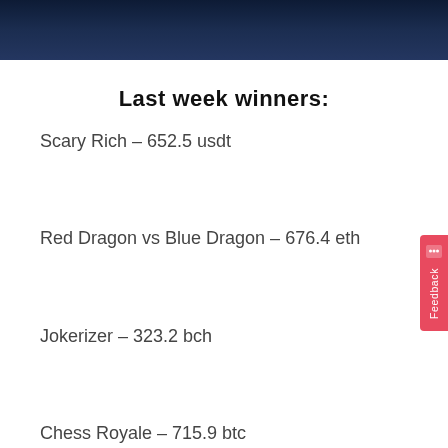[Figure (photo): Dark blue banner image at top of page, appears to be a gaming or casino themed header image]
Last week winners:
Scary Rich – 652.5 usdt
Red Dragon vs Blue Dragon – 676.4 eth
Jokerizer – 323.2 bch
Chess Royale – 715.9 btc